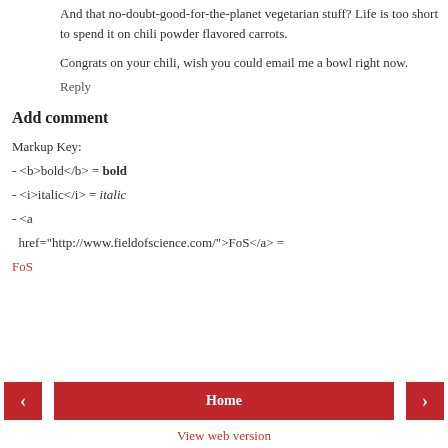And that no-doubt-good-for-the-planet vegetarian stuff? Life is too short to spend it on chili powder flavored carrots.
Congrats on your chili, wish you could email me a bowl right now.
Reply
Add comment
Markup Key:
- <b>bold</b> = bold
- <i>italic</i> = italic
- <a href="http://www.fieldofscience.com/">FoS</a> =
FoS
< Home > View web version